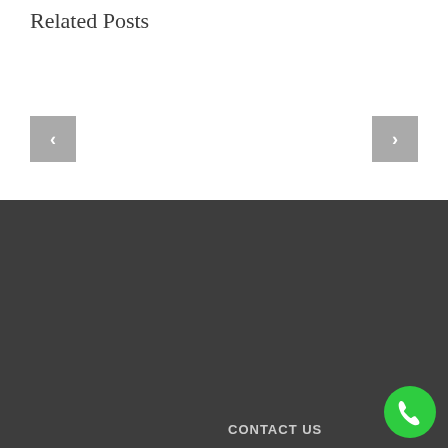Related Posts
[Figure (other): Previous navigation button (left arrow) for related posts carousel]
[Figure (other): Next navigation button (right arrow) for related posts carousel]
CONTACT US
1123 Pinefield Dr Charleston, SC 29492
GET SOCIAL
[Figure (other): Social media icons: Facebook, Twitter, LinkedIn, Instagram, Pinterest]
Phone: 843-270-1729">843-270-1729